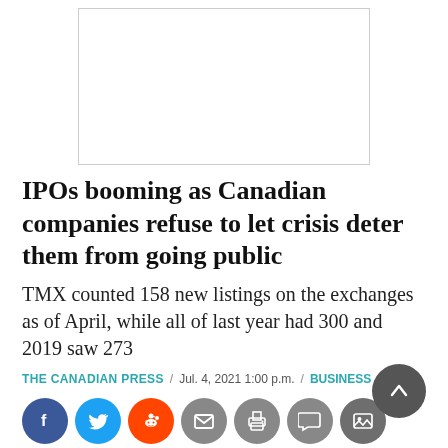[Figure (other): Advertisement placeholder box with border]
IPOs booming as Canadian companies refuse to let crisis deter them from going public
TMX counted 158 new listings on the exchanges as of April, while all of last year had 300 and 2019 saw 273
THE CANADIAN PRESS / Jul. 4, 2021 1:00 p.m. / BUSINESS
[Figure (other): Social sharing icons: Facebook, Twitter, Reddit, Email, Print, Comment, Image]